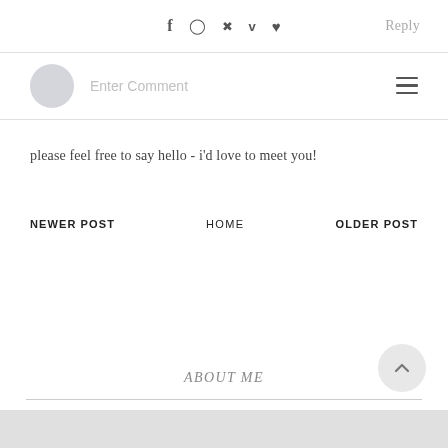f  ⊙  p  v  ♥    Reply
[Figure (screenshot): Comment input field with avatar placeholder and hamburger menu icon]
please feel free to say hello - i'd love to meet you!
NEWER POST
HOME
OLDER POST
ABOUT ME
[Figure (illustration): Gray band at bottom of page]